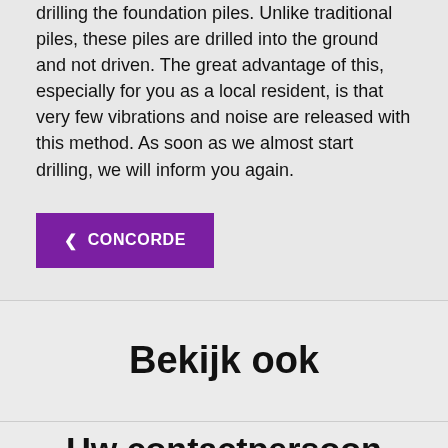drilling the foundation piles. Unlike traditional piles, these piles are drilled into the ground and not driven. The great advantage of this, especially for you as a local resident, is that very few vibrations and noise are released with this method. As soon as we almost start drilling, we will inform you again.
❮ CONCORDE
Bekijk ook
Uw contactpersoon